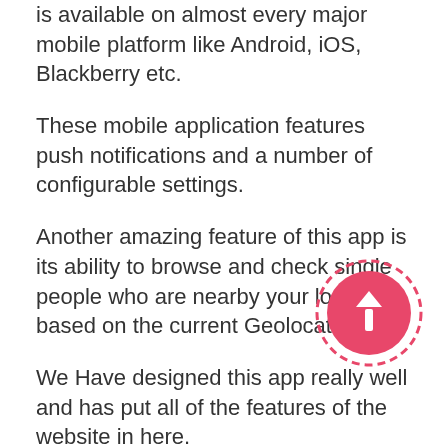is available on almost every major mobile platform like Android, iOS, Blackberry etc.
These mobile application features push notifications and a number of configurable settings.
Another amazing feature of this app is its ability to browse and check single people who are nearby your location based on the current Geolocation.
[Figure (illustration): Pink circular button with dashed border containing an upward-pointing white arrow, used as a scroll-to-top button]
We Have designed this app really well and has put all of the features of the website in here.